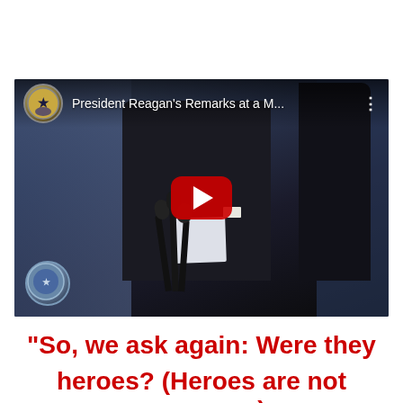[Figure (screenshot): YouTube video thumbnail showing President Reagan at a podium with microphones, wearing a dark suit. The video title reads 'President Reagan's Remarks at a M...' with a YouTube play button overlay and channel seal icons.]
“So, we ask again: Were they
heroes? (Heroes are not supermen)